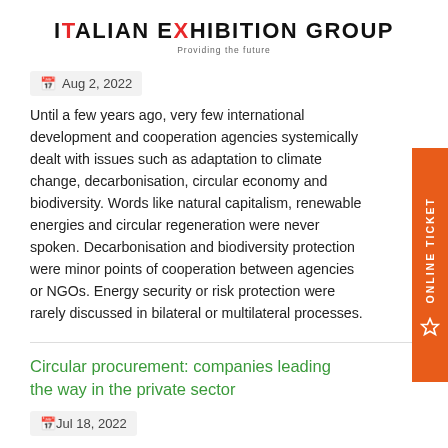ITALIAN EXHIBITION GROUP — Providing the future
Aug 2, 2022
Until a few years ago, very few international development and cooperation agencies systemically dealt with issues such as adaptation to climate change, decarbonisation, circular economy and biodiversity. Words like natural capitalism, renewable energies and circular regeneration were never spoken. Decarbonisation and biodiversity protection were minor points of cooperation between agencies or NGOs. Energy security or risk protection were rarely discussed in bilateral or multilateral processes.
Circular procurement: companies leading the way in the private sector
Jul 18, 2022
Initially conceived for the public administration, circular